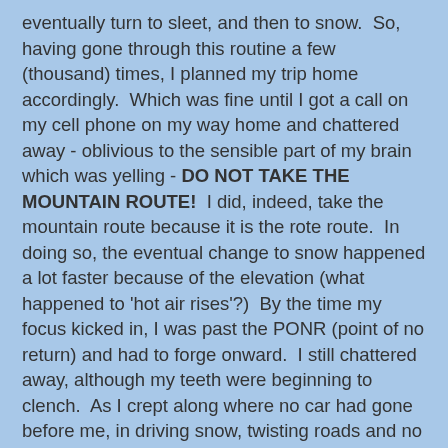eventually turn to sleet, and then to snow.  So, having gone through this routine a few (thousand) times, I planned my trip home accordingly.  Which was fine until I got a call on my cell phone on my way home and chattered away - oblivious to the sensible part of my brain which was yelling - DO NOT TAKE THE MOUNTAIN ROUTE!  I did, indeed, take the mountain route because it is the rote route.  In doing so, the eventual change to snow happened a lot faster because of the elevation (what happened to 'hot air rises'?)  By the time my focus kicked in, I was past the PONR (point of no return) and had to forge onward.  I still chattered away, although my teeth were beginning to clench.  As I crept along where no car had gone before me, in driving snow, twisting roads and no light or clear road markers, I finally shrieked into the phone - "I've got to go - we've got FOG!"  I will spare you the gory details, but the final, very steep descent to level ground and my farm-sweet-farm, was made by inches, brakes to the floor, with the car sliding sideways - luckily into the high snow banks - then toward the ditches and trees, then back and forth, until I finally reached the bottom.  This is where a utility truck met it's demise (along with the driver, very unfortunately) a very sobering thought that was constantly in